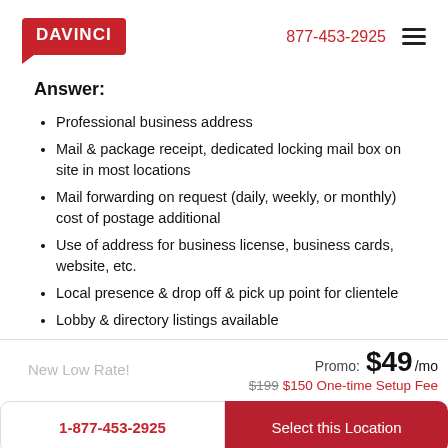DAVINCI  877-453-2925
Answer:
Professional business address
Mail & package receipt, dedicated locking mail box on site in most locations
Mail forwarding on request (daily, weekly, or monthly) cost of postage additional
Use of address for business license, business cards, website, etc.
Local presence & drop off & pick up point for clientele
Lobby & directory listings available
New Low Rate!   Promo: $49/mo   $199 $150 One-time Setup Fee
1-877-453-2925   Select this Location